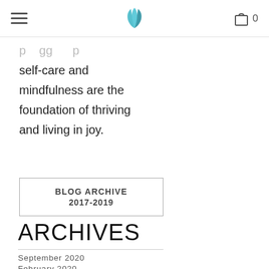Navigation header with hamburger menu, lotus logo, and cart icon with 0
...p...gg...p... self-care and mindfulness are the foundation of thriving and living in joy.
BLOG ARCHIVE 2017-2019
ARCHIVES
September 2020
February 2020